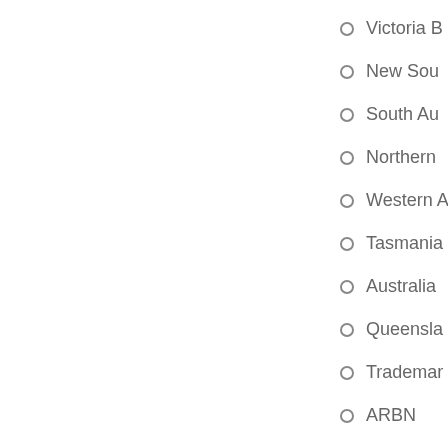Victoria B
New Sou
South Au
Northern
Western A
Tasmania
Australia
Queensla
Trademar
ARBN
Other